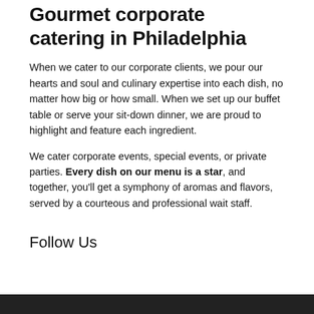Gourmet corporate catering in Philadelphia
When we cater to our corporate clients, we pour our hearts and soul and culinary expertise into each dish, no matter how big or how small. When we set up our buffet table or serve your sit-down dinner, we are proud to highlight and feature each ingredient.
We cater corporate events, special events, or private parties. Every dish on our menu is a star, and together, you'll get a symphony of aromas and flavors, served by a courteous and professional wait staff.
Follow Us